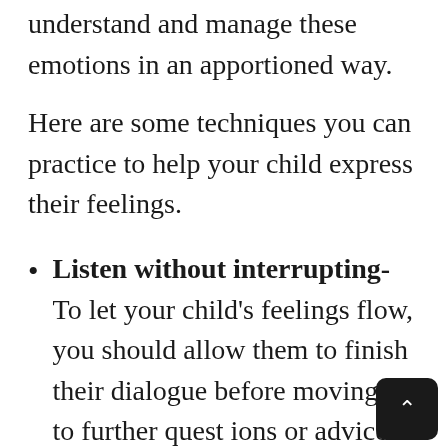understand and manage these emotions in an apportioned way.
Here are some techniques you can practice to help your child express their feelings.
Listen without interrupting- To let your child's feelings flow, you should allow them to finish their dialogue before moving on to further questions or advice. This will help them express better.